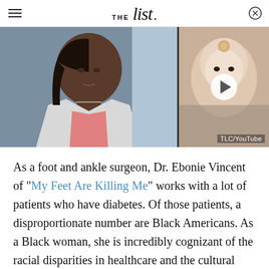THE list.
[Figure (photo): Split video thumbnail showing Dr. Ebonie Vincent on the left (a Black woman in a white blazer and pink top) and on the right a young woman with a decorative headpiece with a play button overlay. TLC/YouTube credit shown.]
As a foot and ankle surgeon, Dr. Ebonie Vincent of "My Feet Are Killing Me" works with a lot of patients who have diabetes. Of those patients, a disproportionate number are Black Americans. As a Black woman, she is incredibly cognizant of the racial disparities in healthcare and the cultural education that is often missing when Black patients are diagnosed with